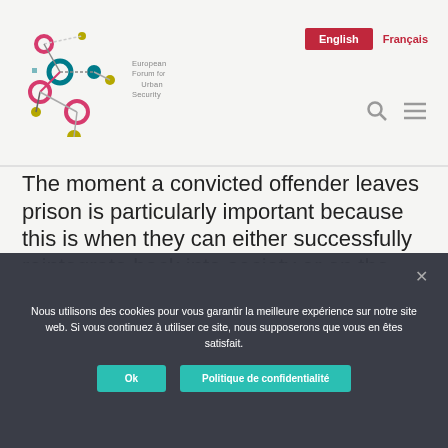[Figure (logo): European Forum for Urban Security logo — colorful connected dots/circles network graphic with text 'European Forum for Urban Security']
English
Français
The moment a convicted offender leaves prison is particularly important because this is when they can either successfully reintegrate back into society or on the contrary, be drawn into reoffending. This is true for all types of offenders and particularly so for those
Nous utilisons des cookies pour vous garantir la meilleure expérience sur notre site web. Si vous continuez à utiliser ce site, nous supposerons que vous en êtes satisfait.
Ok
Politique de confidentialité